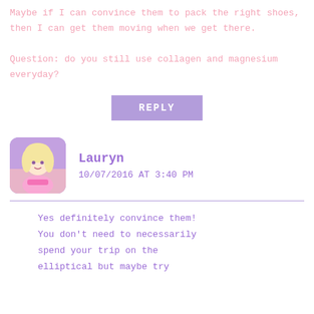Maybe if I can convince them to pack the right shoes, then I can get them moving when we get there.

Question: do you still use collagen and magnesium everyday?
REPLY
Lauryn
10/07/2016 AT 3:40 PM
Yes definitely convince them! You don't need to necessarily spend your trip on the elliptical but maybe try